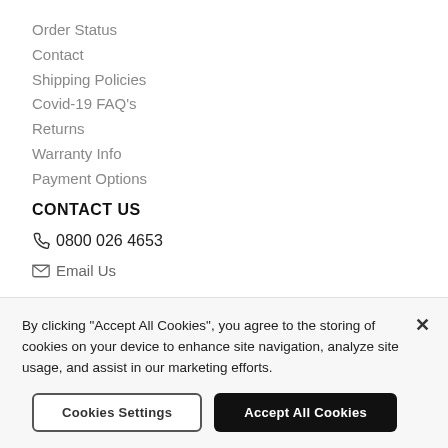Order Status
Contact
Shipping Policies
Covid-19 FAQ's
Returns
Warranty Info
Payment Options
CONTACT US
0800 026 4653
Email Us
LEGAL
Legal
By clicking "Accept All Cookies", you agree to the storing of cookies on your device to enhance site navigation, analyze site usage, and assist in our marketing efforts.
Cookies Settings
Accept All Cookies